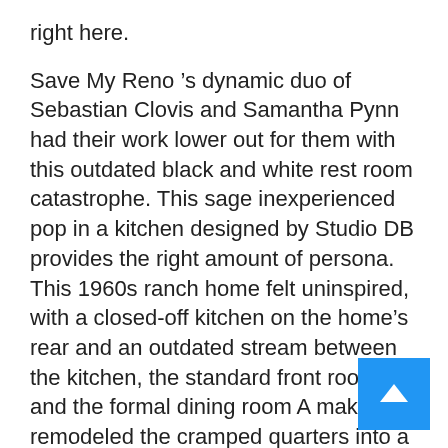right here.
Save My Reno ’s dynamic duo of Sebastian Clovis and Samantha Pynn had their work lower out for them with this outdated black and white rest room catastrophe. This sage inexperienced pop in a kitchen designed by Studio DB provides the right amount of persona. This 1960s ranch home felt uninspired, with a closed-off kitchen on the home’s rear and an outdated stream between the kitchen, the standard front room , and the formal dining room A makeover remodeled the cramped quarters into a welcoming, well-designed space for the family to enjoy.
In the end, the average value of a room addition determined by the sort and dimension of the addition. The delicate colour on this kitchen deliver